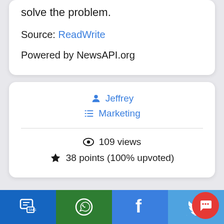solve the problem.
Source: ReadWrite
Powered by NewsAPI.org
Jeffrey
Marketing
109 views
38 points (100% upvoted)